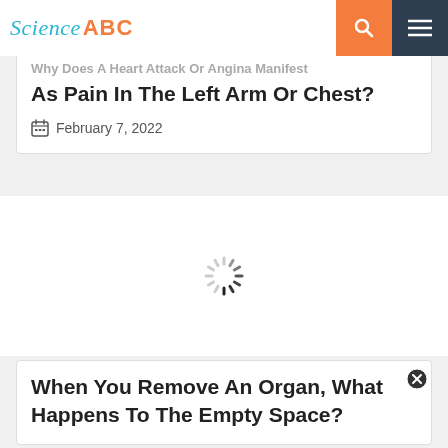Science ABC
As Pain In The Left Arm Or Chest?
February 7, 2022
[Figure (other): Loading spinner icon (circular dashed spinner)]
When You Remove An Organ, What Happens To The Empty Space?